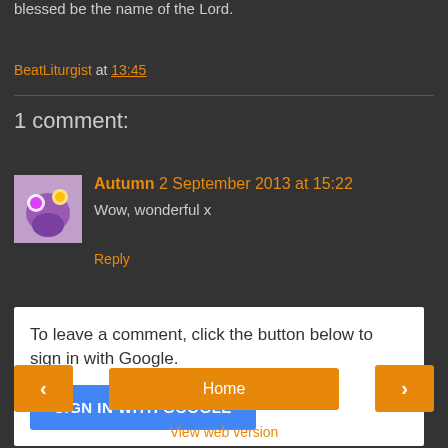blessed be the name of the Lord.
BeatLiturgist at 13:45
1 comment:
Autumn 2 September 2013 at 15:22 — Wow, wonderful x
Reply
To leave a comment, click the button below to sign in with Google.
SIGN IN WITH GOOGLE
Home
View web version